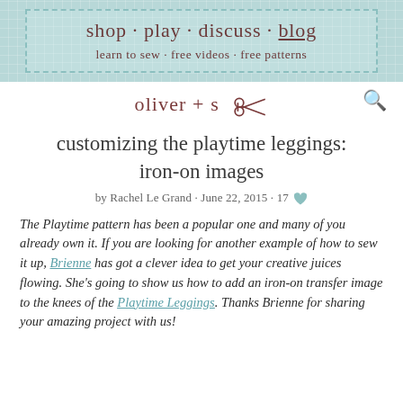shop · play · discuss · blog
learn to sew · free videos · free patterns
oliver + s
customizing the playtime leggings: iron-on images
by Rachel Le Grand · June 22, 2015 · 17
The Playtime pattern has been a popular one and many of you already own it. If you are looking for another example of how to sew it up, Brienne has got a clever idea to get your creative juices flowing. She's going to show us how to add an iron-on transfer image to the knees of the Playtime Leggings. Thanks Brienne for sharing your amazing project with us!